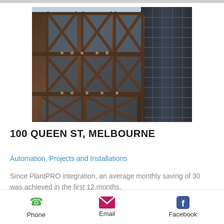[Figure (photo): Looking up at two tall skyscraper buildings from street level against a blue sky; the left building has a distinctive dark brown/bronze structural facade with cross-bracing patterns and glass panels; the right building is a dark reflective glass tower]
100 QUEEN ST, MELBOURNE
Automation, Projects and Installations
Since PlantPRO integration, an average monthly saving of 30 was achieved in the first 12 months.
READ MORE
Phone  Email  Facebook